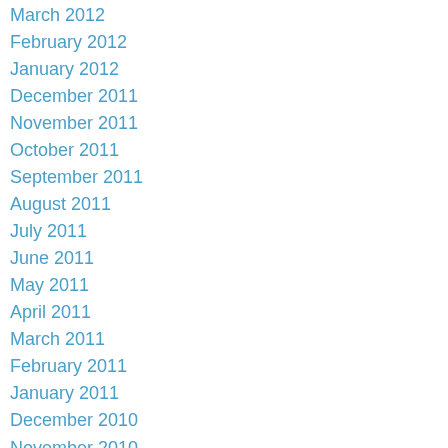March 2012
February 2012
January 2012
December 2011
November 2011
October 2011
September 2011
August 2011
July 2011
June 2011
May 2011
April 2011
March 2011
February 2011
January 2011
December 2010
November 2010
October 2010
September 2010
July 2010
June 2010